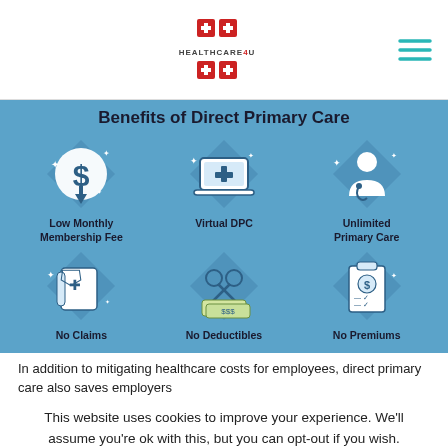Healthcare4U logo
[Figure (infographic): Benefits of Direct Primary Care infographic with 6 icons: Low Monthly Membership Fee (dollar sign icon), Virtual DPC (laptop with cross icon), Unlimited Primary Care (doctor icon), No Claims (scroll/shield icon), No Deductibles (scissors cutting money icon), No Premiums (clipboard with dollar icon). Background is medium blue.]
In addition to mitigating healthcare costs for employees, direct primary care also saves employers
This website uses cookies to improve your experience. We'll assume you're ok with this, but you can opt-out if you wish.
Cookie settings   ACCEPT